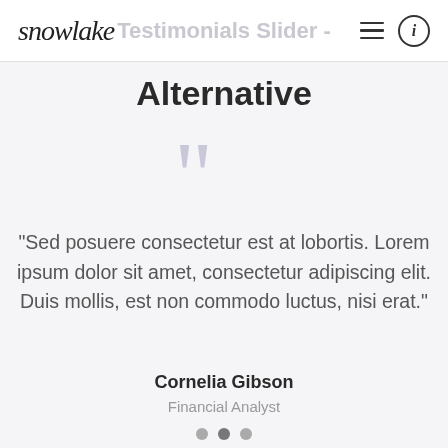snowlake — Testimonials Slider - Alternative
Alternative
[Figure (other): Large decorative quotation mark in light gray]
"Sed posuere consectetur est at lobortis. Lorem ipsum dolor sit amet, consectetur adipiscing elit. Duis mollis, est non commodo luctus, nisi erat."
Cornelia Gibson
Financial Analyst